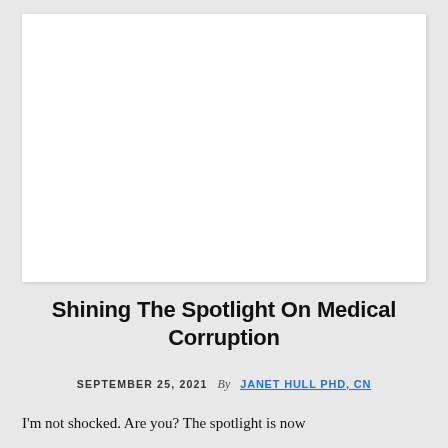[Figure (photo): Large white rectangular image placeholder area at the top of the page]
Shining The Spotlight On Medical Corruption
SEPTEMBER 25, 2021  By  JANET HULL PHD, CN
I'm not shocked. Are you? The spotlight is now